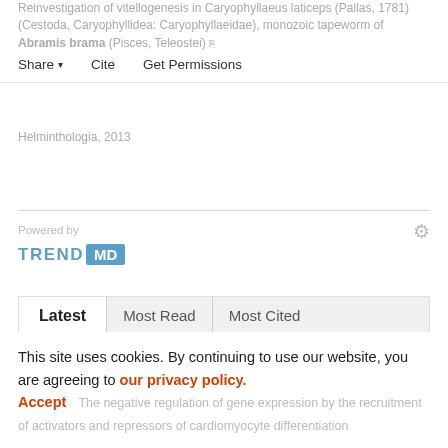Reinvestigation of vitellogenesis in Caryophyllaeus laticeps (Pallas, 1781) (Cestoda, Caryophyllidea: Caryophyllaeidae), monozoic tapeworm of Abramis brama (Pisces, Teleostei)
Helminthologia, 2013
Share  Cite  Get Permissions
Powered by
TREND MD
Latest  Most Read  Most Cited
Interactions between the intrarenal dopaminergic and the renin–angiotensin systems in the control of systemic arterial pressure
This site uses cookies. By continuing to use our website, you are agreeing to our privacy policy. Accept